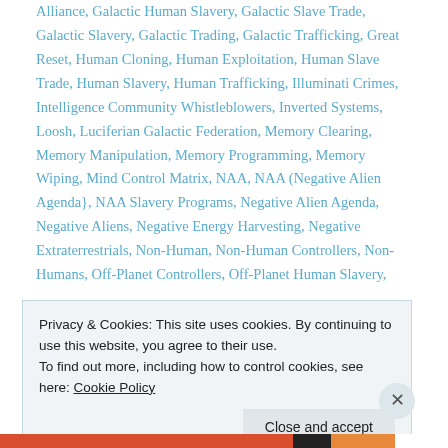Alliance, Galactic Human Slavery, Galactic Slave Trade, Galactic Slavery, Galactic Trading, Galactic Trafficking, Great Reset, Human Cloning, Human Exploitation, Human Slave Trade, Human Slavery, Human Trafficking, Illuminati Crimes, Intelligence Community Whistleblowers, Inverted Systems, Loosh, Luciferian Galactic Federation, Memory Clearing, Memory Manipulation, Memory Programming, Memory Wiping, Mind Control Matrix, NAA, NAA (Negative Alien Agenda}, NAA Slavery Programs, Negative Alien Agenda, Negative Aliens, Negative Energy Harvesting, Negative Extraterrestrials, Non-Human, Non-Human Controllers, Non-Humans, Off-Planet Controllers, Off-Planet Human Slavery,
Privacy & Cookies: This site uses cookies. By continuing to use this website, you agree to their use.
To find out more, including how to control cookies, see here: Cookie Policy
Close and accept